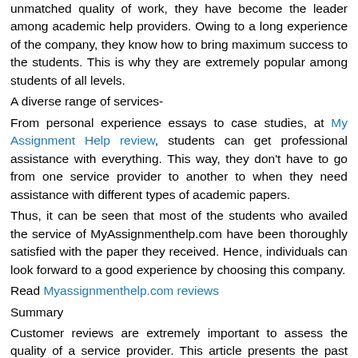unmatched quality of work, they have become the leader among academic help providers. Owing to a long experience of the company, they know how to bring maximum success to the students. This is why they are extremely popular among students of all levels.
A diverse range of services-
From personal experience essays to case studies, at My Assignment Help review, students can get professional assistance with everything. This way, they don't have to go from one service provider to another to when they need assistance with different types of academic papers.
Thus, it can be seen that most of the students who availed the service of MyAssignmenthelp.com have been thoroughly satisfied with the paper they received. Hence, individuals can look forward to a good experience by choosing this company.
Read Myassignmenthelp.com reviews
Summary
Customer reviews are extremely important to assess the quality of a service provider. This article presents the past experience of clients of MyAssignmenthelp.com. Most clients are of the opinion that they are quite satisfied with the papers delivered by the experts of the company.